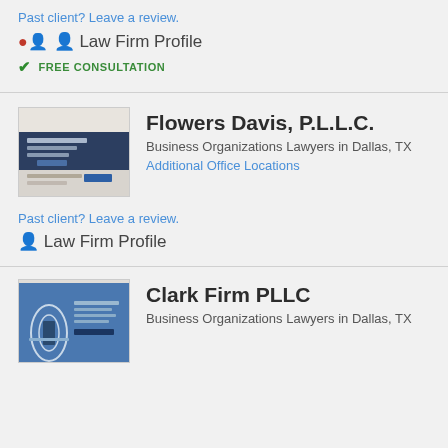Past client? Leave a review.
Law Firm Profile
FREE CONSULTATION
[Figure (screenshot): Screenshot of Flowers Davis P.L.L.C. law firm website thumbnail]
Flowers Davis, P.L.L.C.
Business Organizations Lawyers in Dallas, TX
Additional Office Locations
Past client? Leave a review.
Law Firm Profile
[Figure (screenshot): Screenshot of Clark Firm PLLC law firm website thumbnail]
Clark Firm PLLC
Business Organizations Lawyers in Dallas, TX